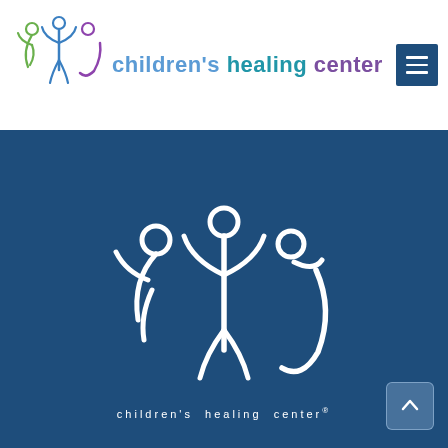[Figure (logo): Children's Healing Center logo with colorful stick figures and text]
CONTACT | FAQS | COOKIES | PRIVACY POLICY
[Figure (logo): Large white Children's Healing Center logo on dark blue background]
children's healing center®